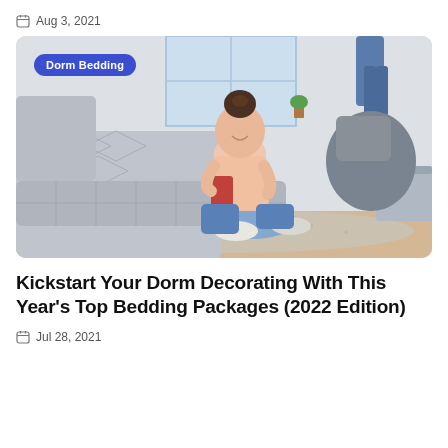Aug 3, 2021
[Figure (photo): Young woman with hair in bun sitting cross-legged on floor in front of a bed with gray bedding, looking at her phone. A 'Dorm Bedding' label badge is overlaid in the top-left of the image. Room has a window, jeans hanging on wall, and gray pillows/comforter.]
Kickstart Your Dorm Decorating With This Year's Top Bedding Packages (2022 Edition)
Jul 28, 2021